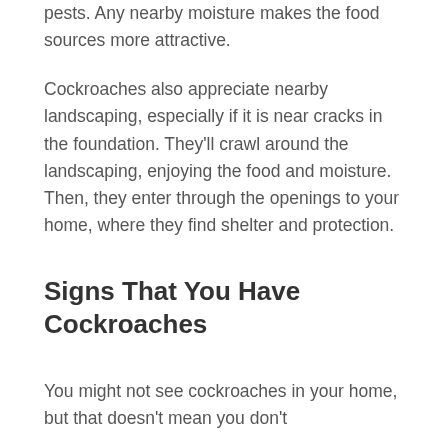pests. Any nearby moisture makes the food sources more attractive.
Cockroaches also appreciate nearby landscaping, especially if it is near cracks in the foundation. They'll crawl around the landscaping, enjoying the food and moisture. Then, they enter through the openings to your home, where they find shelter and protection.
Signs That You Have Cockroaches
You might not see cockroaches in your home, but that doesn't mean you don't